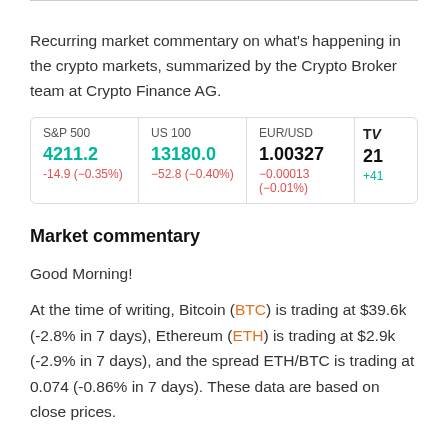Recurring market commentary on what’s happening in the crypto markets, summarized by the Crypto Broker team at Crypto Finance AG.
| S&P 500 | US 100 | EUR/USD | TV |
| --- | --- | --- | --- |
| 4211.2 | 13180.0 | 1.00327 | 21 |
| -14.9 (-0.35%) | -52.8 (-0.40%) | -0.00013 (-0.01%) | +41 |
Market commentary
Good Morning!
At the time of writing, Bitcoin (BTC) is trading at $39.6k (-2.8% in 7 days), Ethereum (ETH) is trading at $2.9k (-2.9% in 7 days), and the spread ETH/BTC is trading at 0.074 (-0.86% in 7 days). These data are based on close prices.